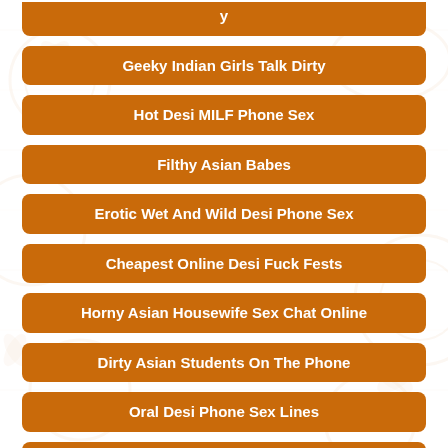Geeky Indian Girls Talk Dirty
Hot Desi MILF Phone Sex
Filthy Asian Babes
Erotic Wet And Wild Desi Phone Sex
Cheapest Online Desi Fuck Fests
Horny Asian Housewife Sex Chat Online
Dirty Asian Students On The Phone
Oral Desi Phone Sex Lines
Dirty Talking Desi Girls